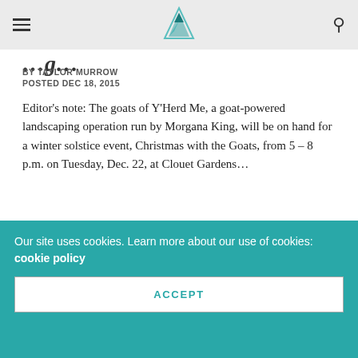Navigation header with hamburger menu, logo, and search icon
...g...
BY TAYLOR MURROW
POSTED DEC 18, 2015
Editor's note: The goats of Y'Herd Me, a goat-powered landscaping operation run by Morgana King, will be on hand for a winter solstice event, Christmas with the Goats, from 5 – 8 p.m. on Tuesday, Dec. 22, at Clouet Gardens...
[Figure (illustration): Black and white decorative illustration featuring intricate botanical/floral patterns with leaves, berries, and branches]
Our site uses cookies. Learn more about our use of cookies: cookie policy
ACCEPT